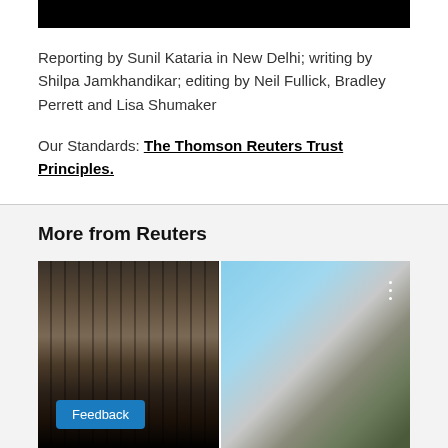[Figure (photo): Black bar at top of article, possibly covering an image or video thumbnail]
Reporting by Sunil Kataria in New Delhi; writing by Shilpa Jamkhandikar; editing by Neil Fullick, Bradley Perrett and Lisa Shumaker
Our Standards: The Thomson Reuters Trust Principles.
More from Reuters
[Figure (photo): Outdoor terrace or plaza area with wooden pergola structure on the left side and modern building with umbrella-shaped sculpture on the right, blue sky visible. Feedback button overlaid at bottom left.]